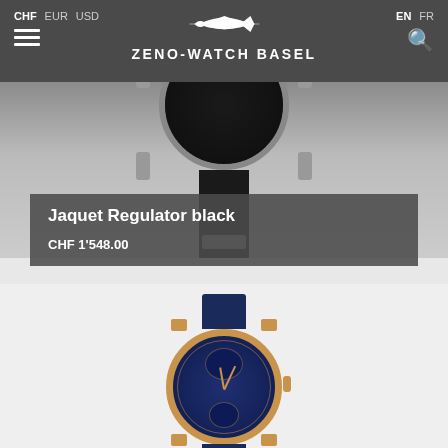CHF EUR USD | ZENO-WATCH BASEL | EN FR
[Figure (photo): Partial view of a Zeno-Watch Basel Jaquet Regulator black watch with dark dial and black leather strap, shown from front and slightly above]
Jaquet Regulator black
CHF 1'548.00
[Figure (photo): Zeno-Watch Basel Jaquet Regulator watch with blue dial and rose gold case, blue leather strap, showing regulator-style dial with sub-dials]